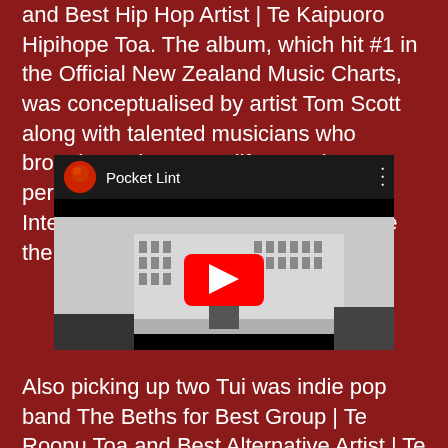and Best Hip Hop Artist | Te Kaipuoro Hipihope Toa. The album, which hit #1 in the Official New Zealand Music Charts, was conceptualised by artist Tom Scott along with talented musicians who brought each song to life. He also performed 'Home' with the Avondale Intermediate School Choir, an homage the school he attended in his youth.
[Figure (screenshot): YouTube video embed showing 'Pocket Lint' with a channel icon, video title, and thumbnail of a black and white building with a red YouTube play button overlay]
Also picking up two Tui was indie pop band The Beths for Best Group | Te Roopu Toa and Best Alternative Artist | Te Kaipuoro Manohi Toa, following the success of their debut